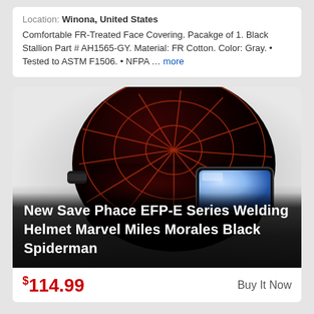Location: Winona, United States
Comfortable FR-Treated Face Covering. Pacakge of 1. Black Stallion Part # AH1565-GY. Material: FR Cotton. Color: Gray. • Tested to ASTM F1506. • NFPA ... more
[Figure (photo): Black welding helmet with red spiderweb pattern (Save Phace EFP-E Series Marvel Miles Morales Black Spiderman) with auto-darkening lens window, shown at an angle against a gradient gray-to-white background. White overlay text reads: New Save Phace EFP-E Series Welding Helmet Marvel Miles Morales Black Spiderman]
$114.99  Buy It Now